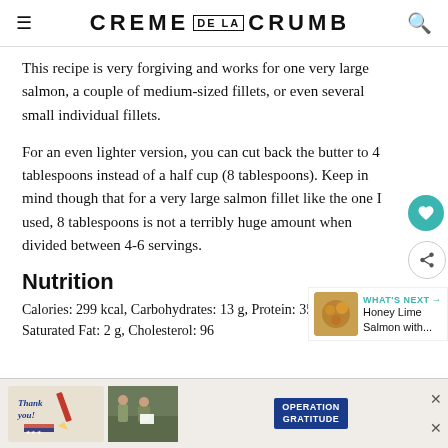CREME DE LA CRUMB
This recipe is very forgiving and works for one very large salmon, a couple of medium-sized fillets, or even several small individual fillets.
For an even lighter version, you can cut back the butter to 4 tablespoons instead of a half cup (8 tablespoons). Keep in mind though that for a very large salmon fillet like the one I used, 8 tablespoons is not a terribly huge amount when divided between 4-6 servings.
Nutrition
Calories: 299 kcal, Carbohydrates: 13 g, Protein: 35 g, Fat: 11 g, Saturated Fat: 2 g, Cholesterol: 96
[Figure (other): Advertisement banner: Thank You Operation Gratitude military-themed ad]